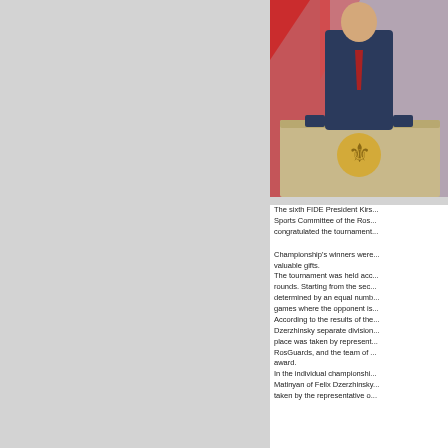[Figure (photo): A man in a dark suit with a red tie stands at a podium bearing the Russian state emblem (double-headed eagle). Colorful decorative banners are visible in the background.]
The sixth FIDE President Kirs... Sports Committee of the Ros... congratulated the tournament...
Championship's winners were... valuable gifts. The tournament was held acc... rounds. Starting from the sec... determined by an equal numb... games where the opponent is... According to the results of the... Dzerzhinsky separate division... place was taken by represent... RosGuards, and the team of ... award. In the individual championshi... Matinyan of Felix Dzerzhinsky... taken by the representative o...